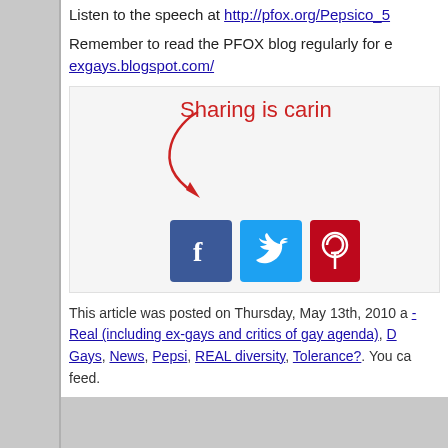Listen to the speech at http://pfox.org/Pepsico_5
Remember to read the PFOX blog regularly for e… exgays.blogspot.com/
[Figure (infographic): Sharing is caring social media widget with Facebook, Twitter, and Pinterest buttons and a red handwritten-style arrow pointing to them]
This article was posted on Thursday, May 13th, 2010 a... - Real (including ex-gays and critics of gay agenda), D... Gays, News, Pepsi, REAL diversity, Tolerance?. You ca... feed.